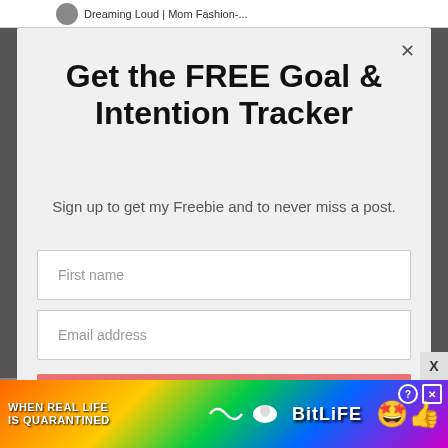[Figure (screenshot): Top bar showing 'Dreaming Loud | Mom Fashion-...' website header behind the modal]
Get the FREE Goal & Intention Tracker
Sign up to get my Freebie and to never miss a post.
First name
Email address
Subscribe
[Figure (screenshot): Advertisement banner: WHEN REAL LIFE IS QUARANTINED - BitLife game ad with colorful background and emoji characters]